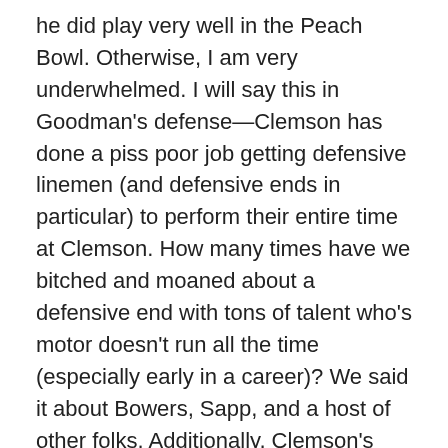he did play very well in the Peach Bowl. Otherwise, I am very underwhelmed. I will say this in Goodman's defense—Clemson has done a piss poor job getting defensive linemen (and defensive ends in particular) to perform their entire time at Clemson. How many times have we bitched and moaned about a defensive end with tons of talent who's motor doesn't run all the time (especially early in a career)? We said it about Bowers, Sapp, and a host of other folks. Additionally, Clemson's inability to properly add weight here has pissed us off—but I will not digress down that path. All the best to Goodman. Maybe I am underestimating his potential. If that is the case, then Clemson needs to reassess its strategy on developing defensive ends. In my opinion, as a Falcons fan, I never would have used that pick in that fashion. The Dirty Birds must believe the talent is there and Clemson just couldn't get the performance